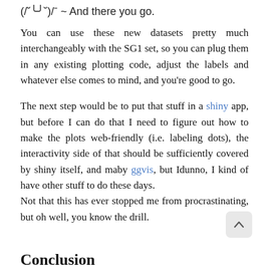(/˘╰╯˘)/ˉ ~ And there you go.
You can use these new datasets pretty much interchangeably with the SG1 set, so you can plug them in any existing plotting code, adjust the labels and whatever else comes to mind, and you're good to go.
The next step would be to put that stuff in a shiny app, but before I can do that I need to figure out how to make the plots web-friendly (i.e. labeling dots), the interactivity side of that should be sufficiently covered by shiny itself, and maby ggvis, but Idunno, I kind of have other stuff to do these days.
Not that this has ever stopped me from procrastinating, but oh well, you know the drill.
Conclusion